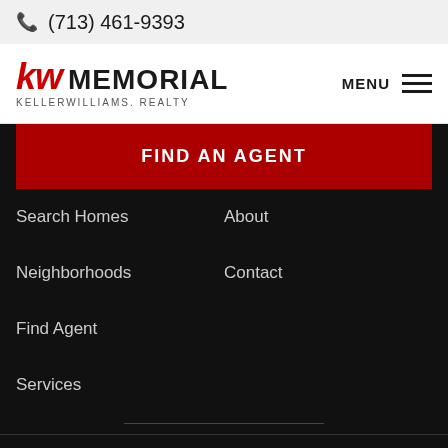(713) 461-9393
[Figure (logo): Keller Williams Memorial Realty logo with red KW letters and MEMORIAL text]
MENU
FIND AN AGENT
Search Homes
About
Neighborhoods
Contact
Find Agent
Services